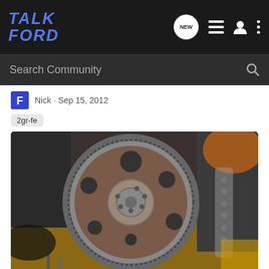TALK FORD
Search Community
Nick · Sep 15, 2012
2gr-fe
[Figure (photo): Engine flywheel/flexplate with ring gear visible, sitting on a wooden surface in a workshop environment]
3s-gte axle bracket doesn't bolt up
Nick · Sep 15, 2012